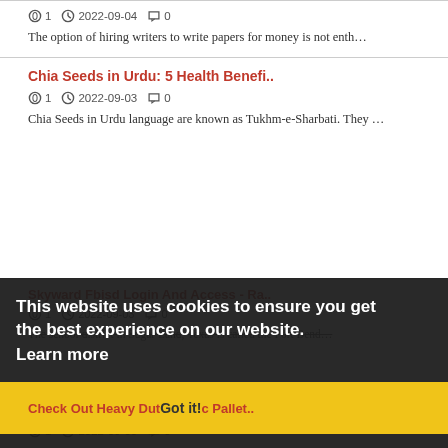1  2022-09-04  0
The option of hiring writers to write papers for money is not enth...
Chia Seeds in Urdu: 5 Health Benefi..
1  2022-09-03  0
Chia Seeds in Urdu language are known as Tukhm-e-Sharbati. They ...
Skyward Fbisd Login And Access - Ra..
This website uses cookies to ensure you get the best experience on our website.
Learn more
Got it!
1  2022-09-03  0
The school district in Sugar Land, Texas is called the Fort Bend...
Check Out Heavy Duty Plastic Pallet..
1  2022-09-03  0